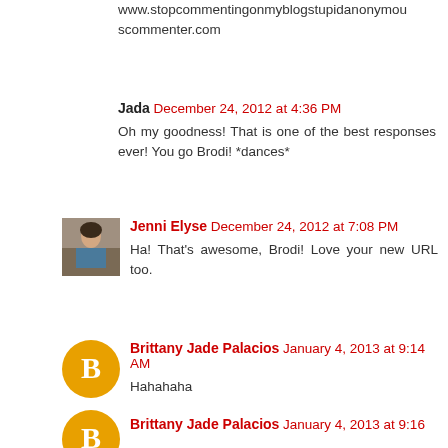www.stopcommentingonmyblogstupidanonymouscommenter.com
Jada December 24, 2012 at 4:36 PM
Oh my goodness! That is one of the best responses ever! You go Brodi! *dances*
[Figure (photo): Profile photo of Jenni Elyse, a woman in a bookstore/library]
Jenni Elyse December 24, 2012 at 7:08 PM
Ha! That's awesome, Brodi! Love your new URL too.
[Figure (illustration): Orange Blogger default avatar circle with B icon]
Brittany Jade Palacios January 4, 2013 at 9:14 AM
Hahahahaha
[Figure (illustration): Orange Blogger default avatar circle with B icon (partial, bottom of page)]
Brittany Jade Palacios January 4, 2013 at 9:16